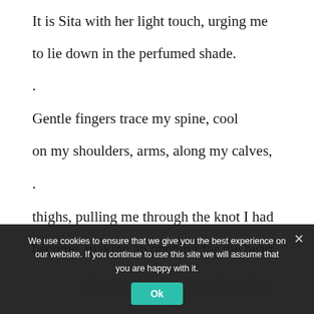It is Sita with her light touch, urging me
to lie down in the perfumed shade.
.
Gentle fingers trace my spine, cool
on my shoulders, arms, along my calves,
.
thighs, pulling me through the knot I had
become, making an opening for the heart.
.
We use cookies to ensure that we give you the best experience on our website. If you continue to use this site we will assume that you are happy with it.